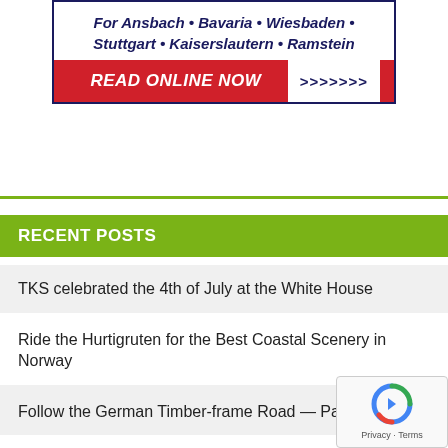[Figure (infographic): Banner advertisement with text 'For Ansbach • Bavaria • Wiesbaden • Stuttgart • Kaiserslautern • Ramstein' and red button 'READ ONLINE NOW >>>>>>>']
RECENT POSTS
TKS celebrated the 4th of July at the White House
Ride the Hurtigruten for the Best Coastal Scenery in Norway
Follow the German Timber-frame Road — Part 2
Follow the German timber-frame road (part 1)
The Sweet Taste of Independence